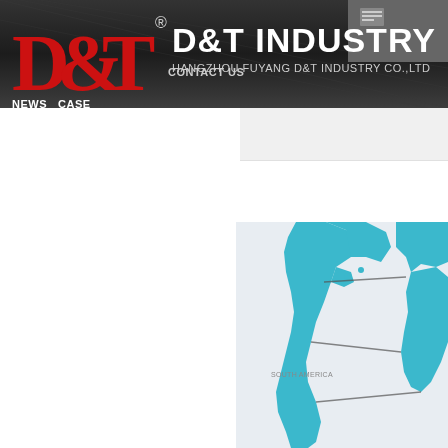[Figure (logo): D&T Industry company logo and navigation header bar with dark background. Shows red D&T logo mark on left, navigation items NEWS, CASE, CONTACT US, and company name D&T INDUSTRY / HANGZHOU FUYANG D&T INDUSTRY CO.,LTD in white text.]
[Figure (map): Partial world map showing Americas, Europe and Africa in blue/teal color on light grey background, with connection lines drawn across the map, visible in lower-right corner of the page.]